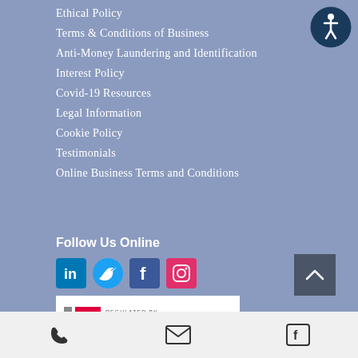Ethical Policy
Terms & Conditions of Business
Anti-Money Laundering and Identification
Interest Policy
Covid-19 Resources
Legal Information
Cookie Policy
Testimonials
Online Business Terms and Conditions
Follow Us Online
[Figure (logo): Accessibility icon - circular dark blue button with white person/wheelchair symbol]
[Figure (logo): Social media icons: LinkedIn, Twitter, Facebook, Instagram]
[Figure (logo): Regulated by Solicitors Regulation Authority badge]
[Figure (other): Back to top button - dark grey square with upward chevron]
Phone | Email | Facebook